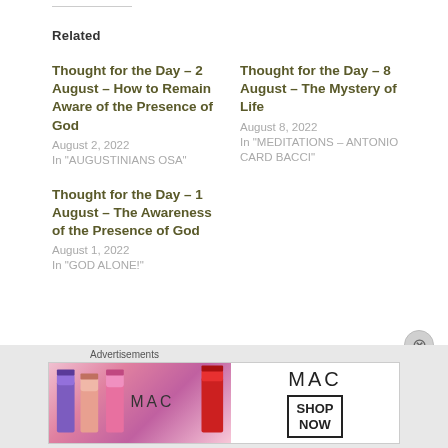Related
Thought for the Day – 2 August – How to Remain Aware of the Presence of God
August 2, 2022
In "AUGUSTINIANS OSA"
Thought for the Day – 8 August – The Mystery of Life
August 8, 2022
In "MEDITATIONS – ANTONIO CARD BACCI"
Thought for the Day – 1 August – The Awareness of the Presence of God
August 1, 2022
In "GOD ALONE!"
Advertisements
[Figure (photo): MAC cosmetics advertisement showing lipsticks with MAC logo and SHOP NOW button]